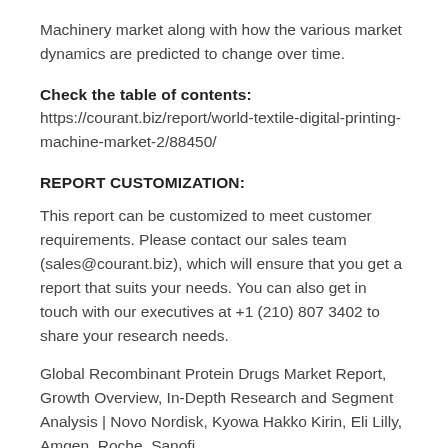Machinery market along with how the various market dynamics are predicted to change over time.
Check the table of contents:
https://courant.biz/report/world-textile-digital-printing-machine-market-2/88450/
REPORT CUSTOMIZATION:
This report can be customized to meet customer requirements. Please contact our sales team (sales@courant.biz), which will ensure that you get a report that suits your needs. You can also get in touch with our executives at +1 (210) 807 3402 to share your research needs.
Global Recombinant Protein Drugs Market Report, Growth Overview, In-Depth Research and Segment Analysis | Novo Nordisk, Kyowa Hakko Kirin, Eli Lilly, Amgen, Roche, Sanofi,